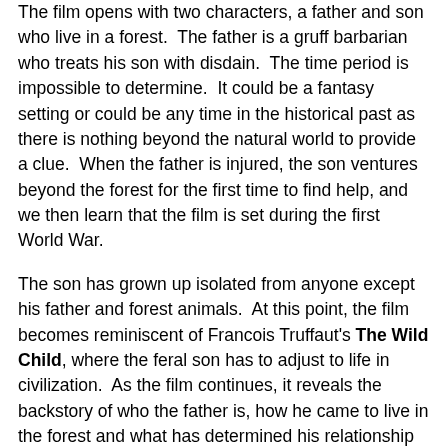The film opens with two characters, a father and son who live in a forest. The father is a gruff barbarian who treats his son with disdain. The time period is impossible to determine. It could be a fantasy setting or could be any time in the historical past as there is nothing beyond the natural world to provide a clue. When the father is injured, the son ventures beyond the forest for the first time to find help, and we then learn that the film is set during the first World War.
The son has grown up isolated from anyone except his father and forest animals. At this point, the film becomes reminiscent of Francois Truffaut's The Wild Child, where the feral son has to adjust to life in civilization. As the film continues, it reveals the backstory of who the father is, how he came to live in the forest and what has determined his relationship with his son.
When I watch animated features made in North America, I always know where they're going. I hope for surprises or twists to break the film out of the predictable story structure that Hollywood continually falls back on. In this film, I had no idea where it was going and I loved the film for that. The